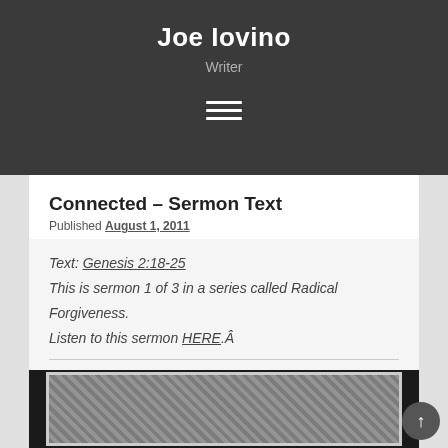Joe Iovino
Writer
Connected – Sermon Text
Published August 1, 2011
Text: Genesis 2:18-25
This is sermon 1 of 3 in a series called Radical Forgiveness.
Listen to this sermon HERE. Â
[Figure (photo): Partially visible grayscale image with scratched/handwritten marks, shown at the bottom of the page]